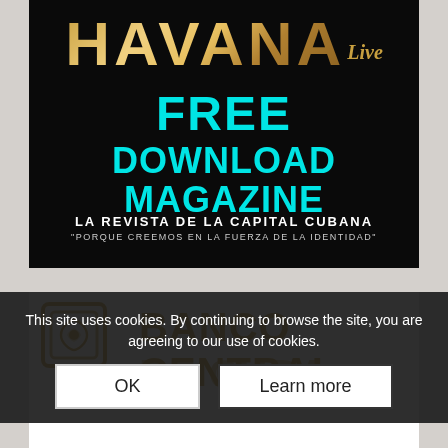[Figure (advertisement): Havana Live magazine advertisement with dark background. Shows 'HAVANA Live' title in gold metallic text, 'FREE DOWNLOAD MAGAZINE' in cyan/teal bold text, and 'LA REVISTA DE LA CAPITAL CUBANA' with tagline in white text at bottom.]
[Figure (logo): Banco Central de Cuba logo with golden ornate square emblem icon and bold golden text reading BANCO CENTRAL DE CUBA]
This site uses cookies. By continuing to browse the site, you are agreeing to our use of cookies.
OK
Learn more